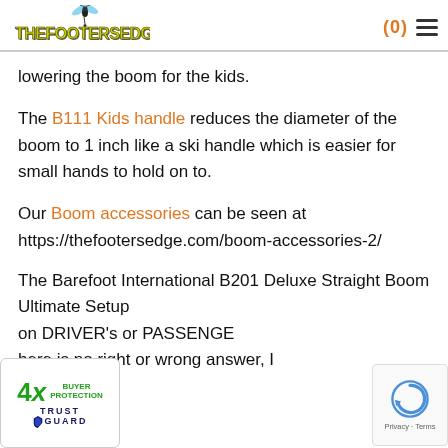thefootersedge.com (0) [menu]
lowering the boom for the kids.
The B111 Kids handle reduces the diameter of the boom to 1 inch like a ski handle which is easier for small hands to hold on to.
Our Boom accessories can be seen at https://thefootersedge.com/boom-accessories-2/
The Barefoot International B201 Deluxe Straight Boom Ultimate Setup on DRIVER's or PASSENGE... here is no right or wrong answer, I